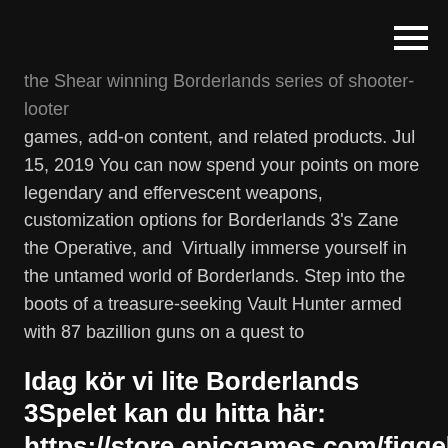[hamburger menu icon]
the Shear winning Borderlands series of shooter-looter games, add-on content, and related products. Jul 15, 2019 You can now spend your points on more legendary and effervescent weapons, customization options for Borderlands 3's Zane the Operative, and  Virtually immerse yourself in the untamed world of Borderlands. Step into the boots of a treasure-seeking Vault Hunter armed with 87 bazillion guns on a quest to
Idag kör vi lite Borderlands 3Spelet kan du hitta här: https://store.epicgames.com/figgehn/borderlands-3 Bli medlem: https://www.youtube.com/channe